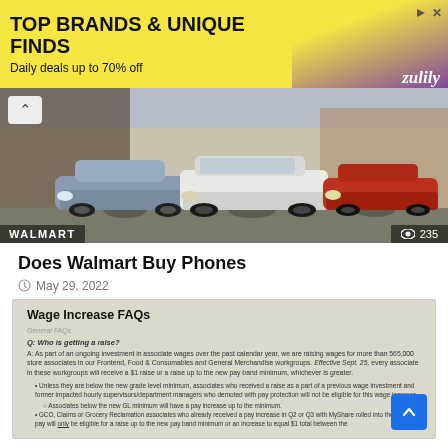[Figure (infographic): Zulily advertisement banner with yellow background: 'TOP BRANDS & UNIQUE FINDS / Daily deals up to 70% off' with Zulily logo in purple]
[Figure (photo): Three cars parked in a Walmart parking lot - a silver sedan on the left, a white SUV in the center, and a red compact on the right. WALMART label and 235 view count shown.]
Does Walmart Buy Phones
May 29, 2022
[Figure (screenshot): Photo of a document titled 'Wage Increase FAQs' with General FAQs section. Q: Who is getting a raise? A: As part of an ongoing investment in associate wages over the past calendar year, we are raising wages for more than 565,000 store associates in our Frontend, Food & Consumables and General Merchandise workgroups. Effective Sept. 25, every associate in these workgroups will receive a $1 raise or a raise up to the new pay band minimum, whichever is greater. Bullet points follow with details about eligibility.]